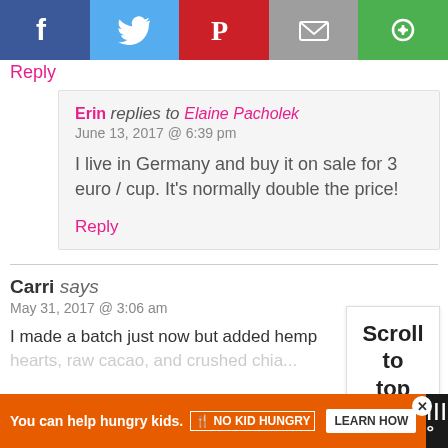[Figure (other): Social sharing buttons: Facebook (blue), Twitter (light blue), Pinterest (red), Email (grey), another share button (green)]
Reply
Erin replies to Elaine Pacholek
June 13, 2017 @ 6:39 pm
I live in Germany and buy it on sale for 3 euro / cup. It's normally double the price!
Reply
Carri says
May 31, 2017 @ 3:06 am
I made a batch just now but added hemp hearts, raw cacao, and crushed chia...
[Figure (other): Scroll to top button overlay]
[Figure (other): Advertisement banner: You can help hungry kids. No Kid Hungry. LEARN HOW]